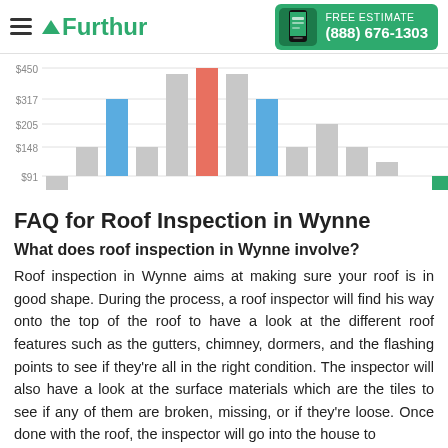Furthur — FREE ESTIMATE (888) 676-1303
[Figure (bar-chart): Roof Inspection Cost by Region]
FAQ for Roof Inspection in Wynne
What does roof inspection in Wynne involve?
Roof inspection in Wynne aims at making sure your roof is in good shape. During the process, a roof inspector will find his way onto the top of the roof to have a look at the different roof features such as the gutters, chimney, dormers, and the flashing points to see if they’re all in the right condition. The inspector will also have a look at the surface materials which are the tiles to see if any of them are broken, missing, or if they’re loose. Once done with the roof, the inspector will go into the house to